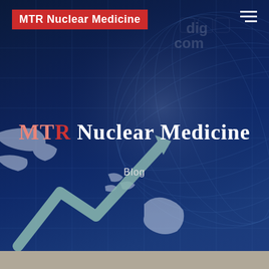[Figure (illustration): Dark navy blue background with a translucent globe/world map illustration showing continents and grid lines, with a financial chart arrow graphic overlaid on the lower left portion]
MTR Nuclear Medicine
MTR Nuclear Medicine
Blog